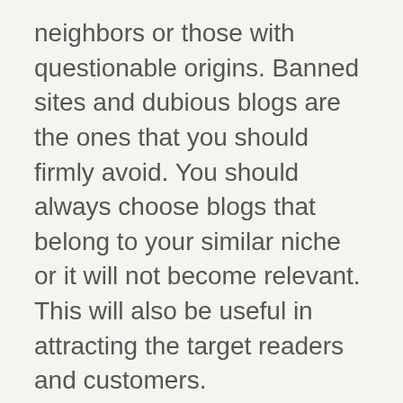neighbors or those with questionable origins. Banned sites and dubious blogs are the ones that you should firmly avoid. You should always choose blogs that belong to your similar niche or it will not become relevant. This will also be useful in attracting the target readers and customers.
·        Avoid two way back links: Always make sure that your domain is not a part of private blog network. This you can ensure by making sure that there are no two way links. Recently Google has been devaluing all the private blog networks; hence if you